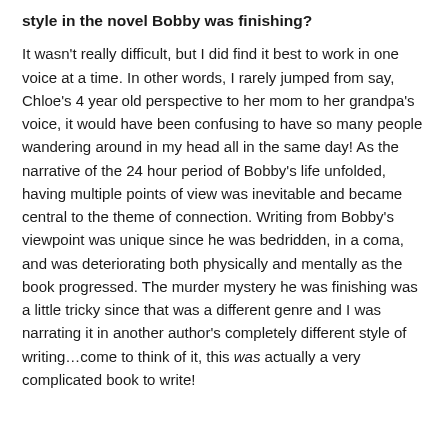style in the novel Bobby was finishing?
It wasn't really difficult, but I did find it best to work in one voice at a time. In other words, I rarely jumped from say, Chloe's 4 year old perspective to her mom to her grandpa's voice, it would have been confusing to have so many people wandering around in my head all in the same day! As the narrative of the 24 hour period of Bobby's life unfolded, having multiple points of view was inevitable and became central to the theme of connection. Writing from Bobby's viewpoint was unique since he was bedridden, in a coma, and was deteriorating both physically and mentally as the book progressed. The murder mystery he was finishing was a little tricky since that was a different genre and I was narrating it in another author's completely different style of writing…come to think of it, this was actually a very complicated book to write!